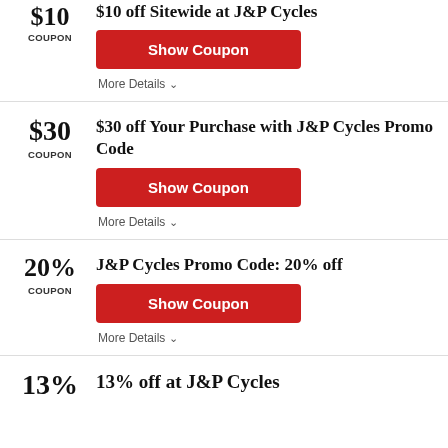$10 off Sitewide at J&P Cycles
COUPON
Show Coupon
More Details
$30
COUPON
$30 off Your Purchase with J&P Cycles Promo Code
Show Coupon
More Details
20%
COUPON
J&P Cycles Promo Code: 20% off
Show Coupon
More Details
13%
13% off at J&P Cycles